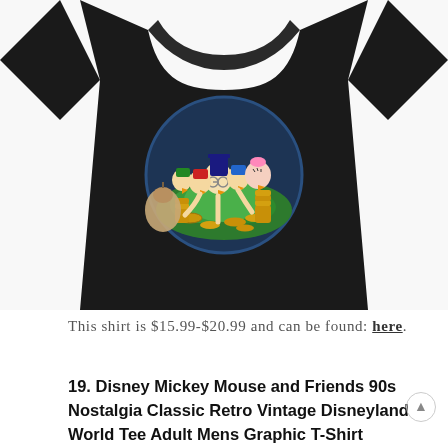[Figure (photo): Black graphic t-shirt featuring Disney DuckTales characters (Scrooge McDuck, Huey, Dewey, Louie, Daisy Duck) swimming in a pile of gold coins, shown against a white background, cropped from the neck down to the hem.]
This shirt is $15.99-$20.99 and can be found: here.
19. Disney Mickey Mouse and Friends 90s Nostalgia Classic Retro Vintage Disneyland World Tee Adult Mens Graphic T-Shirt